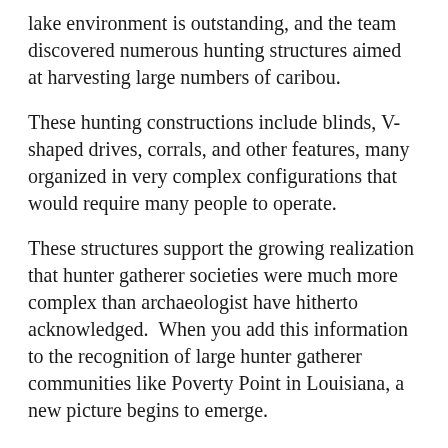lake environment is outstanding, and the team discovered numerous hunting structures aimed at harvesting large numbers of caribou.
These hunting constructions include blinds, V-shaped drives, corrals, and other features, many organized in very complex configurations that would require many people to operate.
These structures support the growing realization that hunter gatherer societies were much more complex than archaeologist have hitherto acknowledged.  When you add this information to the recognition of large hunter gatherer communities like Poverty Point in Louisiana, a new picture begins to emerge.
Texas A & M University Press, 2022; 270 pgs., illus., $65 cloth, www.tamupress.com